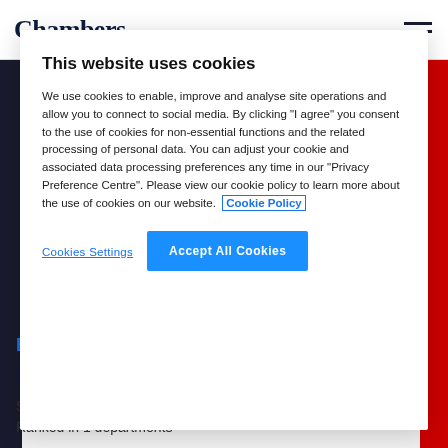Chambers
This website uses cookies
We use cookies to enable, improve and analyse site operations and allow you to connect to social media. By clicking "I agree" you consent to the use of cookies for non-essential functions and the related processing of personal data. You can adjust your cookie and associated data processing preferences any time in our "Privacy Preference Centre". Please view our cookie policy to learn more about the use of cookies on our website. Cookie Policy
Cookies Settings
Accept All Cookies
BMA – Barbosa, Müssnich, Aragão
Mauricio Faro
São Paulo - SP, Brazil  •  Brazil Guide 2022  •  Ranked in 1 departments